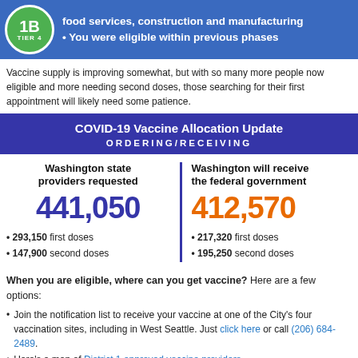[Figure (infographic): Blue banner with green circle badge showing '1B TIER 4', with white bold text about food services, construction and manufacturing, and previous phase eligibility]
Vaccine supply is improving somewhat, but with so many more people now eligible and more needing second doses, those searching for their first appointment will likely need some patience.
COVID-19 Vaccine Allocation Update ORDERING/RECEIVING
Washington state providers requested 441,050 • 293,150 first doses • 147,900 second doses
Washington will receive from the federal government 412,570 • 217,320 first doses • 195,250 second doses
When you are eligible, where can you get vaccine? Here are a few options:
Join the notification list to receive your vaccine at one of the City's four vaccination sites, including in West Seattle. Just click here or call (206) 684-2489.
Here's a map of District 1 approved vaccine providers.
Try the state's new Vaccine Locator to find open appointments.
I shared many more ideas in my newsletter last week – find them here.